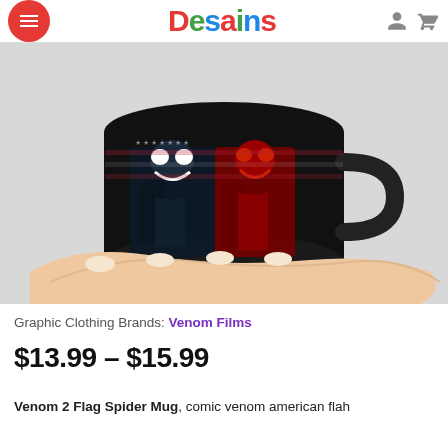Desains
[Figure (photo): A hand holding a black ceramic mug featuring Venom and Carnage (Marvel characters) printed on it against an American flag background, photographed on a white/light grey background.]
Graphic Clothing Brands: Venom Films
$13.99 – $15.99
Venom 2 Flag Spider Mug, comic venom american flah